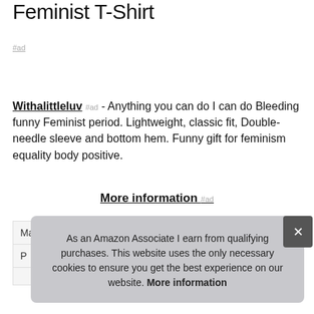Feminist T-Shirt
#ad
Withalittleluv #ad - Anything you can do I can do Bleeding funny Feminist period. Lightweight, classic fit, Double-needle sleeve and bottom hem. Funny gift for feminism equality body positive.
More information #ad
As an Amazon Associate I earn from qualifying purchases. This website uses the only necessary cookies to ensure you get the best experience on our website. More information